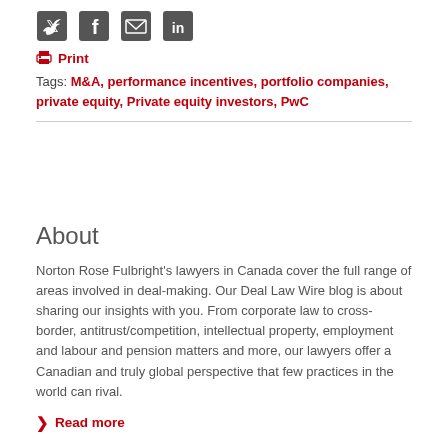[Figure (other): Social media icons: Twitter, Facebook, Email, LinkedIn]
Print
Tags: M&A, performance incentives, portfolio companies, private equity, Private equity investors, PwC
About
Norton Rose Fulbright's lawyers in Canada cover the full range of areas involved in deal-making. Our Deal Law Wire blog is about sharing our insights with you. From corporate law to cross-border, antitrust/competition, intellectual property, employment and labour and pension matters and more, our lawyers offer a Canadian and truly global perspective that few practices in the world can rival.
Read more
Stay connected